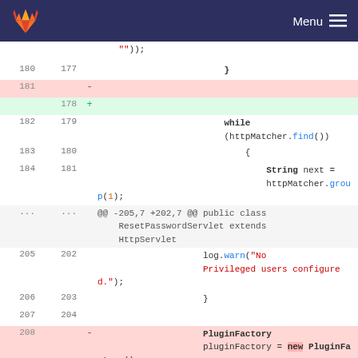GitLab — Menu
[Figure (screenshot): Code diff view showing a Java file with line numbers and additions/deletions. Lines 180-208 are shown with context around changes to PluginFactory and httpMatcher code.]